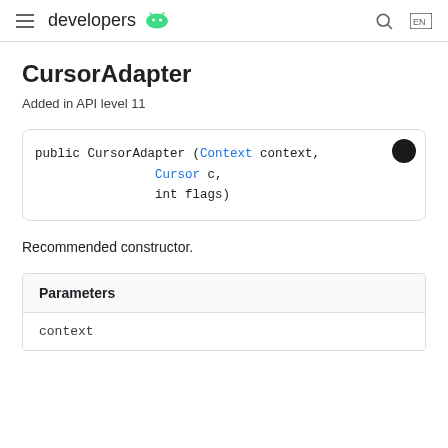developers
CursorAdapter
Added in API level 11
public CursorAdapter (Context context,
                Cursor c,
                int flags)
Recommended constructor.
| Parameters |
| --- |
| context |